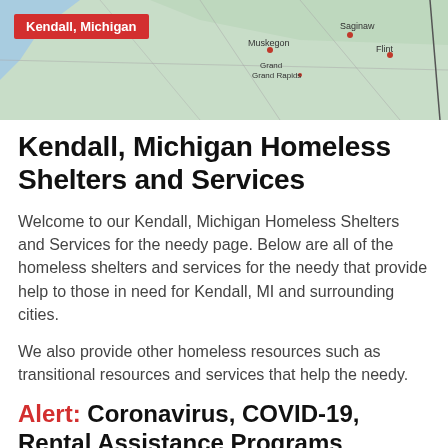[Figure (map): Map of Michigan state with cities labeled including Muskegon, Grand Rapids, Saginaw, Flint, and others. A red label reads 'Kendall, Michigan' in the upper left corner.]
Kendall, Michigan Homeless Shelters and Services
Welcome to our Kendall, Michigan Homeless Shelters and Services for the needy page. Below are all of the homeless shelters and services for the needy that provide help to those in need for Kendall, MI and surrounding cities.
We also provide other homeless resources such as transitional resources and services that help the needy.
Alert: Coronavirus, COVID-19, Rental Assistance Programs
Looking for government and non-profit programs to